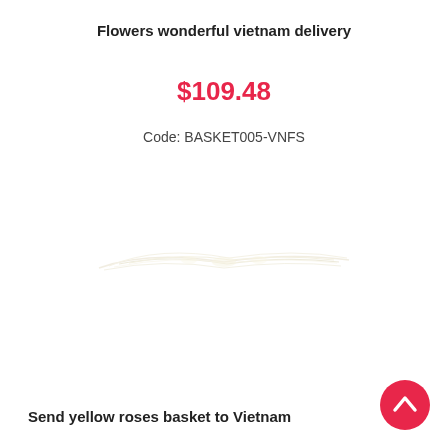Flowers wonderful vietnam delivery
$109.48
Code: BASKET005-VNFS
[Figure (photo): Faint image of a flower basket or arrangement, very light/washed out, barely visible against white background]
Send yellow roses basket to Vietnam